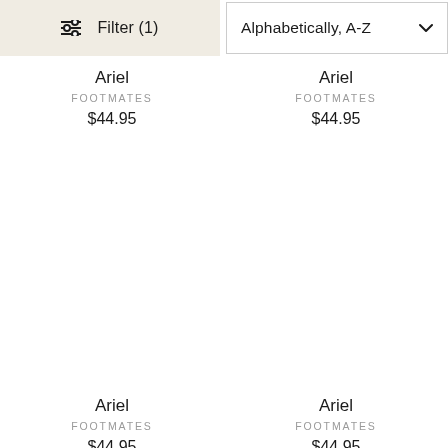[Figure (screenshot): E-commerce product listing page showing shoe products from FOOTMATES brand named Ariel priced at $44.95 each, with filter and sort controls at top]
Filter (1)
Alphabetically, A-Z
Ariel
FOOTMATES
$44.95
Ariel
FOOTMATES
$44.95
Ariel
FOOTMATES
$44.95
Ariel
FOOTMATES
$44.95